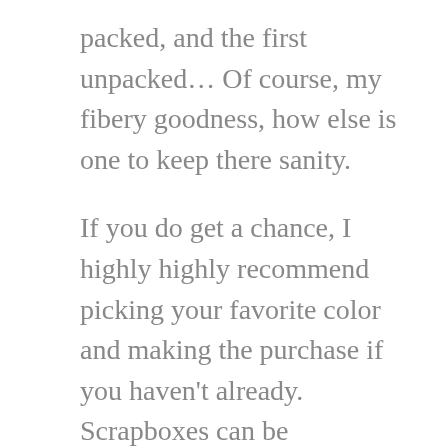packed, and the first unpacked… Of course, my fibery goodness, how else is one to keep there sanity.
If you do get a chance, I highly highly recommend picking your favorite color and making the purchase if you haven't already.
Scrapboxes can be purchased here http://namastefarms.com/purchase-scrapboxes/
A little about why you see so much of